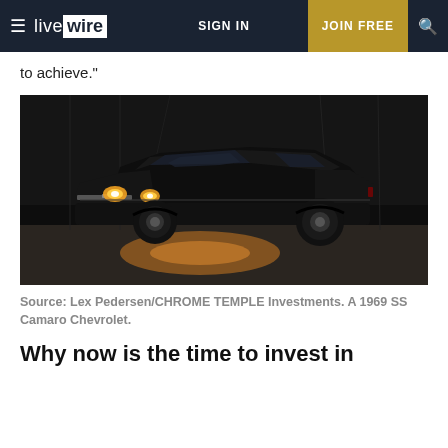live wire | SIGN IN | JOIN FREE
to achieve."
[Figure (photo): A black 1969 SS Camaro Chevrolet with headlights on, parked inside a dark warehouse/hangar. The headlights cast warm orange-yellow light on the concrete floor.]
Source: Lex Pedersen/CHROME TEMPLE Investments. A 1969 SS Camaro Chevrolet.
Why now is the time to invest in